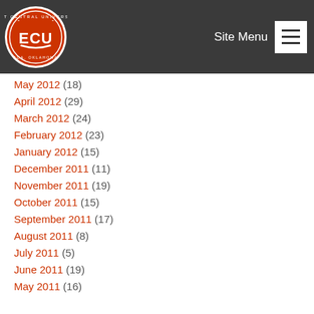[Figure (logo): East Central University (ECU) circular logo with red background and white ECU letters, Ada Oklahoma]
Site Menu
May 2012 (18)
April 2012 (29)
March 2012 (24)
February 2012 (23)
January 2012 (15)
December 2011 (11)
November 2011 (19)
October 2011 (15)
September 2011 (17)
August 2011 (8)
July 2011 (5)
June 2011 (19)
May 2011 (16)